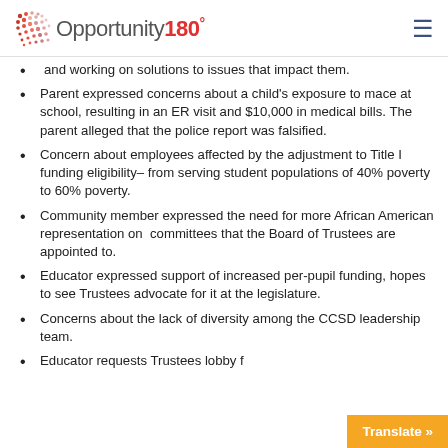Opportunity 180°
and working on solutions to issues that impact them.
Parent expressed concerns about a child's exposure to mace at school, resulting in an ER visit and $10,000 in medical bills. The parent alleged that the police report was falsified.
Concern about employees affected by the adjustment to Title I funding eligibility– from serving student populations of 40% poverty to 60% poverty.
Community member expressed the need for more African American representation on  committees that the Board of Trustees are appointed to.
Educator expressed support of increased per-pupil funding, hopes to see Trustees advocate for it at the legislature.
Concerns about the lack of diversity among the CCSD leadership team.
Educator requests Trustees lobby f…